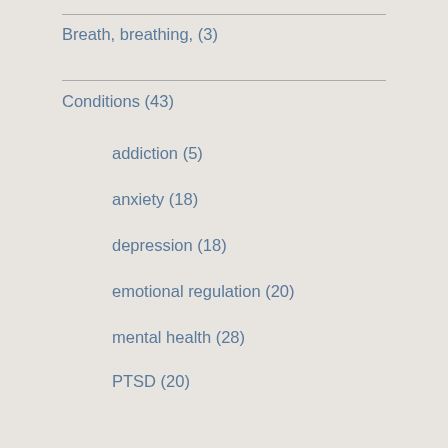Breath, breathing, (3)
Conditions (43)
addiction (5)
anxiety (18)
depression (18)
emotional regulation (20)
mental health (28)
PTSD (20)
sleep disorders (13)
stress (13)
Consciousness (16)